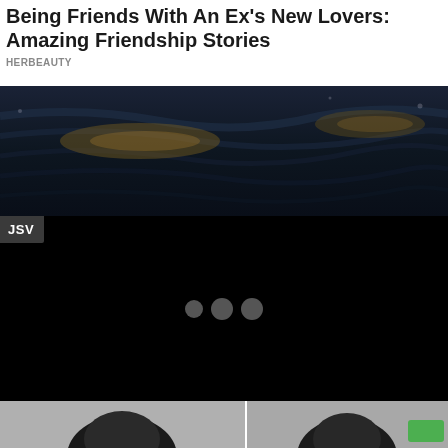Being Friends With An Ex's New Lovers: Amazing Friendship Stories
HERBEAUTY
[Figure (photo): A dark wooden surface with swirling wood grain texture in deep navy and black tones with gold/amber highlights]
[Figure (screenshot): A black video player area with JSV badge in top-left corner and three loading dots (small, medium, medium) centered in the frame]
[Figure (photo): Two black-and-white portrait photos side by side at bottom of page, partially cropped; a green button visible at bottom right]